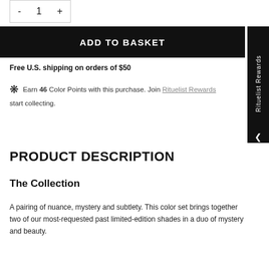[Figure (other): Quantity selector showing minus button, 1, and plus button in a bordered box]
ADD TO BASKET
Free U.S. shipping on orders of $50
Earn 46 Color Points with this purchase. Join Rituelist Rewards start collecting.
PRODUCT DESCRIPTION
The Collection
A pairing of nuance, mystery and subtlety. This color set brings together two of our most-requested past limited-edition shades in a duo of mystery and beauty.